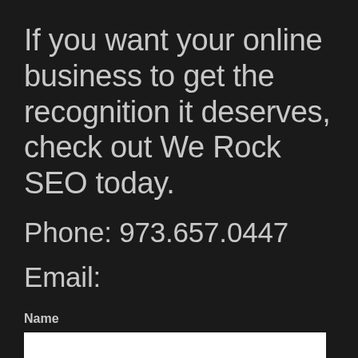If you want your online business to get the recognition it deserves, check out We Rock SEO today.
Phone: 973.657.0447
Email:
Name